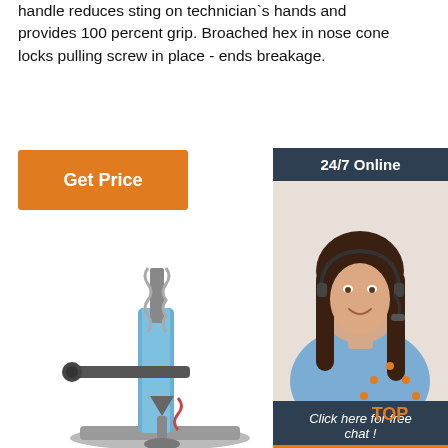handle reduces sting on technician`s hands and provides 100 percent grip. Broached hex in nose cone locks pulling screw in place - ends breakage.
[Figure (other): Orange 'Get Price' button]
[Figure (other): Sidebar with '24/7 Online' header, customer service representative photo with headset, 'Click here for free chat!' text, and orange 'QUOTATION' button]
[Figure (photo): Industrial pulling/press machine with blue column, mechanical arms, and spring assembly]
[Figure (other): Orange 'TOP' badge with dotted triangle arrow pointing up]